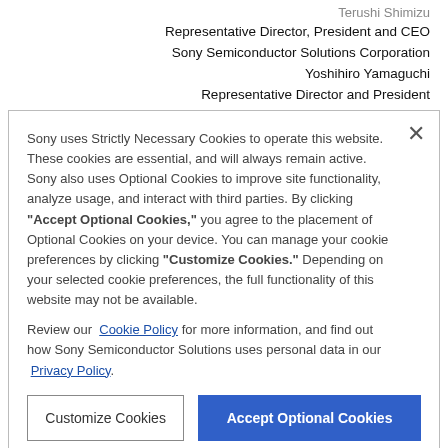Terushi Shimizu
Representative Director, President and CEO
Sony Semiconductor Solutions Corporation
Yoshihiro Yamaguchi
Representative Director and President
Sony uses Strictly Necessary Cookies to operate this website. These cookies are essential, and will always remain active. Sony also uses Optional Cookies to improve site functionality, analyze usage, and interact with third parties. By clicking "Accept Optional Cookies," you agree to the placement of Optional Cookies on your device. You can manage your cookie preferences by clicking "Customize Cookies." Depending on your selected cookie preferences, the full functionality of this website may not be available.

Review our Cookie Policy for more information, and find out how Sony Semiconductor Solutions uses personal data in our Privacy Policy.